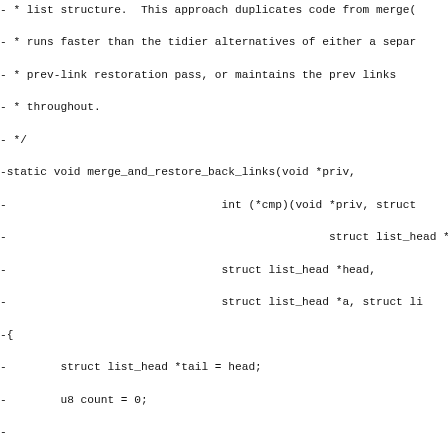Code diff showing merge_and_restore_back_links function implementation in C